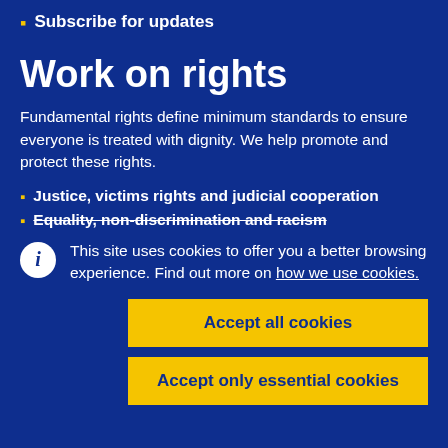Subscribe for updates
Work on rights
Fundamental rights define minimum standards to ensure everyone is treated with dignity. We help promote and protect these rights.
Justice, victims rights and judicial cooperation
Equality, non-discrimination and racism
This site uses cookies to offer you a better browsing experience. Find out more on how we use cookies.
Accept all cookies
Accept only essential cookies